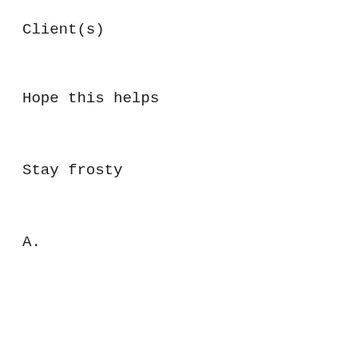Client(s)
Hope this helps
Stay frosty
A.